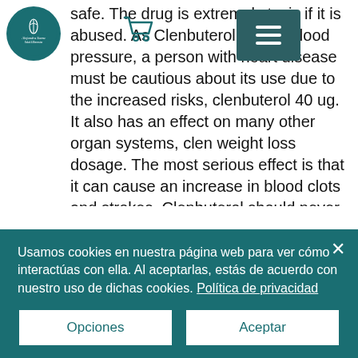[Figure (logo): Circular teal logo with white text reading 'Alejandra Saenz' and subtitle text]
[Figure (illustration): Shopping cart icon in teal/dark teal outline style]
[Figure (other): Dark teal square menu button with three horizontal white lines (hamburger icon)]
safe. The drug is extremely toxic if it is abused. As Clenbuterol lowers blood pressure, a person with heart disease must be cautious about its use due to the increased risks, clenbuterol 40 ug. It also has an effect on many other organ systems, clen weight loss dosage. The most serious effect is that it can cause an increase in blood clots and strokes. Clenbuterol should never be given in combination with any medications that cause blood clots such as clopidogrel (Plavix), which is a heart condition drug. Other substances which can cause blood clots when combined with Clenbuterol in
Usamos cookies en nuestra página web para ver cómo interactúas con ella. Al aceptarlas, estás de acuerdo con nuestro uso de dichas cookies. Política de privacidad
Opciones
Aceptar